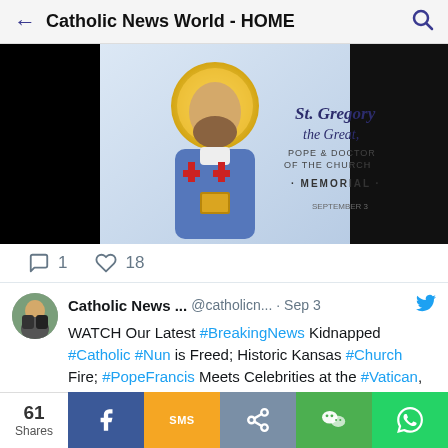Catholic News World - HOME
[Figure (photo): Religious icon image of St. Gregory the Great, Pope & Doctor of the Church, Memorial - showing a saint in bishop's robes with a halo, holding a book, with red crosses on vestments. Dark/black panels on left side.]
1   18
Catholic News ...   @catholicn...  · Sep 3
WATCH Our Latest #BreakingNews Kidnapped #Catholic #Nun is Freed; Historic Kansas #Church Fire; #PopeFrancis Meets Celebrities at the #Vatican, 20 New Cardinals
youtube.com/watch?v=rSD6Ne...
61 Shares